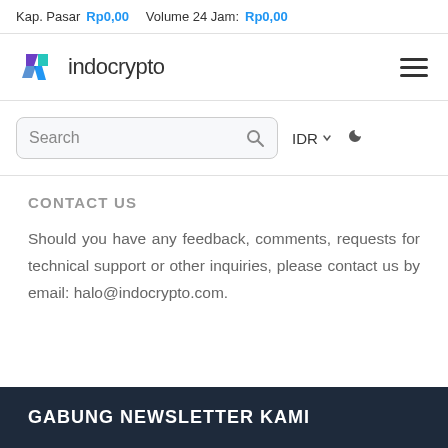Kap. Pasar Rp0,00  Volume 24 Jam: Rp0,00
[Figure (logo): Indocrypto logo with stylized purple/teal icon and text 'indocrypto', hamburger menu icon on right]
[Figure (screenshot): Search bar with placeholder text 'Search' and magnifying glass icon, IDR currency selector with dropdown arrow, and crescent moon icon for dark mode toggle]
CONTACT US
Should you have any feedback, comments, requests for technical support or other inquiries, please contact us by email: halo@indocrypto.com.
GABUNG NEWSLETTER KAMI